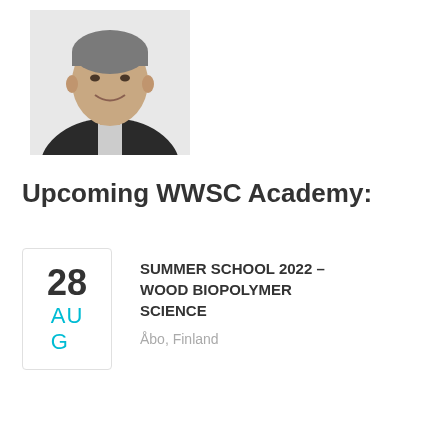[Figure (photo): Headshot of a middle-aged man in a dark suit with a white shirt, smiling, against a white background]
Upcoming WWSC Academy:
28 AUG
SUMMER SCHOOL 2022 – WOOD BIOPOLYMER SCIENCE
Åbo, Finland